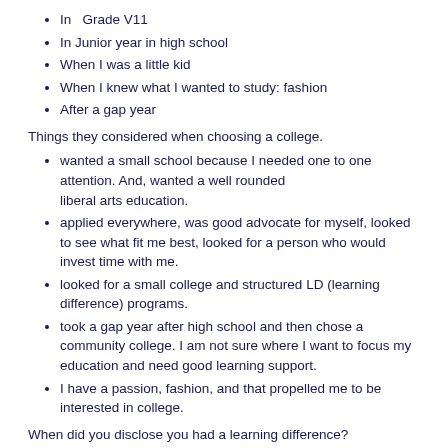In  Grade V11
In Junior year in high school
When I was a little kid
When I knew what I wanted to study: fashion
After a gap year
Things they considered when choosing a college.
wanted a small school because I needed one to one attention.  And, wanted a well rounded liberal arts education.
applied everywhere, was good advocate for myself, looked to see what fit me best, looked for a person who would invest time with me.
looked for a small college and structured LD (learning difference) programs.
took a gap year after high school and then chose a community college.  I am not sure where I want to focus my education and need good learning support.
I have a passion, fashion, and that propelled me to be interested in college.
When did you disclose you had a learning difference?
Wrote about it in my application and then weeded out schools who weren't interested.
Checked out LD resources and asked what accommodations they